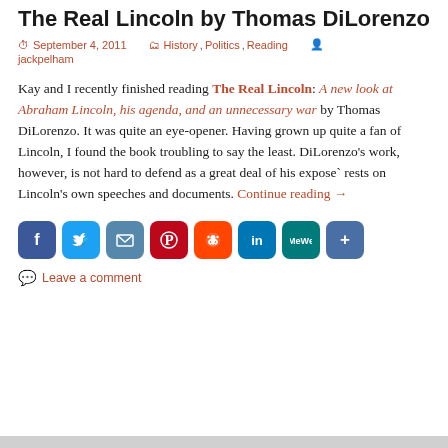The Real Lincoln by Thomas DiLorenzo
September 4, 2011   History, Politics, Reading   jackpelham
Kay and I recently finished reading The Real Lincoln: A new look at Abraham Lincoln, his agenda, and an unnecessary war by Thomas DiLorenzo.  It was quite an eye-opener.  Having grown up quite a fan of Lincoln, I found the book troubling to say the least.  DiLorenzo's work, however, is not hard to defend as a great deal of his expose` rests on Lincoln's own speeches and documents. Continue reading →
[Figure (infographic): Social sharing buttons: Facebook, Twitter, Email, Pinterest, Reddit, LinkedIn, MeWe, and Share/More]
Leave a comment